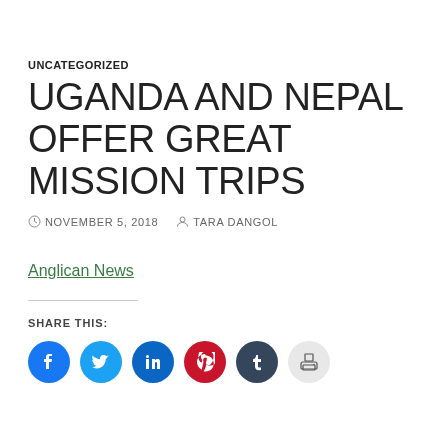UNCATEGORIZED
UGANDA AND NEPAL OFFER GREAT MISSION TRIPS
NOVEMBER 5, 2018   TARA DANGOL
Anglican News
SHARE THIS: